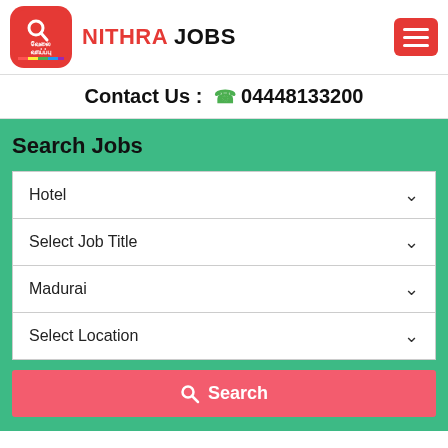[Figure (logo): Nithra Jobs logo with Tamil text and red icon, plus hamburger menu icon]
Contact Us : 04448133200
Search Jobs
Hotel (dropdown)
Select Job Title (dropdown)
Madurai (dropdown)
Select Location (dropdown)
Search (button)
Latest Hotel Industry Job Vacancy Madurai